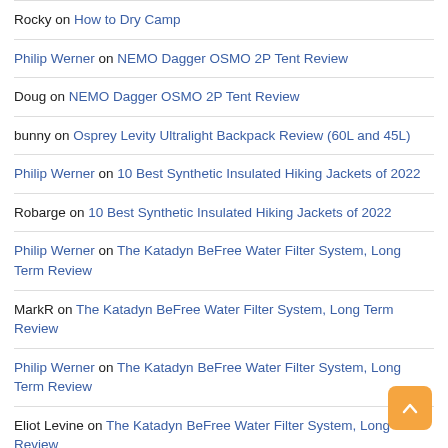Rocky on How to Dry Camp
Philip Werner on NEMO Dagger OSMO 2P Tent Review
Doug on NEMO Dagger OSMO 2P Tent Review
bunny on Osprey Levity Ultralight Backpack Review (60L and 45L)
Philip Werner on 10 Best Synthetic Insulated Hiking Jackets of 2022
Robarge on 10 Best Synthetic Insulated Hiking Jackets of 2022
Philip Werner on The Katadyn BeFree Water Filter System, Long Term Review
MarkR on The Katadyn BeFree Water Filter System, Long Term Review
Philip Werner on The Katadyn BeFree Water Filter System, Long Term Review
Eliot Levine on The Katadyn BeFree Water Filter System, Long Term Review
Brian Fry on Gossamer Gear Liteflex Hiking Chrome Umbrella Review
Saunders on The 10 Best Appalachian Trail Books for Hikers
Philip Werner on Zpacks Plex Solo Tent Review